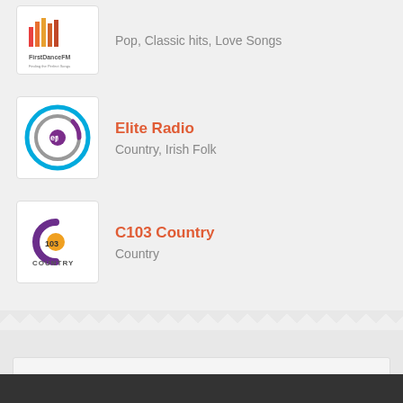[Figure (logo): FirstDanceFM radio station logo with colorful bars and text]
Pop, Classic hits, Love Songs
[Figure (logo): Elite Radio logo with circular music note icon in blue and purple]
Elite Radio
Country, Irish Folk
[Figure (logo): C103 Country radio station logo with purple C and orange 103 text]
C103 Country
Country
Submit Station
Register
Login